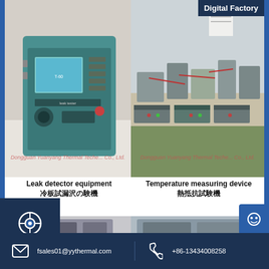[Figure (photo): Leak detector equipment - a teal/green colored electronic test instrument with display screen and controls]
[Figure (photo): Temperature measuring device - laboratory workbench with multiple instruments and equipment]
Leak detector equipment
冷板試漏沢の験機
Temperature measuring device
熱抵抗試験機
[Figure (photo): Second row left equipment photo (partially visible)]
[Figure (photo): Second row right equipment photo (partially visible)]
fsales01@yythermal.com   +86-13434008258